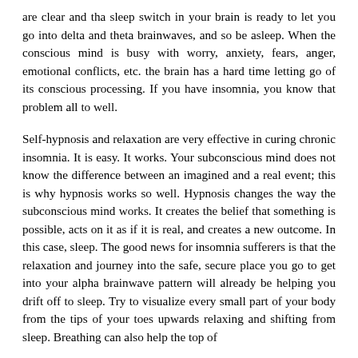are clear and tha sleep switch in your brain is ready to let you go into delta and theta brainwaves, and so be asleep. When the conscious mind is busy with worry, anxiety, fears, anger, emotional conflicts, etc. the brain has a hard time letting go of its conscious processing. If you have insomnia, you know that problem all to well.
Self-hypnosis and relaxation are very effective in curing chronic insomnia. It is easy. It works. Your subconscious mind does not know the difference between an imagined and a real event; this is why hypnosis works so well. Hypnosis changes the way the subconscious mind works. It creates the belief that something is possible, acts on it as if it is real, and creates a new outcome. In this case, sleep. The good news for insomnia sufferers is that the relaxation and journey into the safe, secure place you go to get into your alpha brainwave pattern will already be helping you drift off to sleep. Try to visualize every small part of your body from the tips of your toes upwards relaxing and shifting from sleep. Breathing can also help the top of